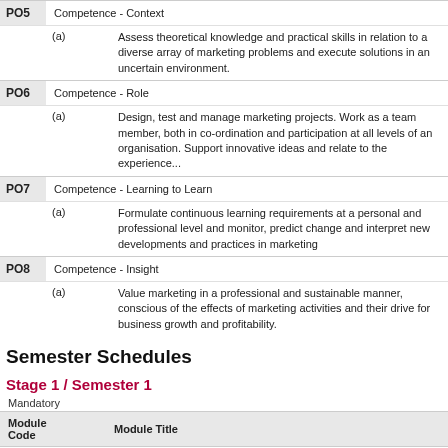| PO5 | Competence - Context |
| --- | --- |
| (a) | Assess theoretical knowledge and practical skills in relation to a diverse array of marketing problems and execute solutions in an uncertain environment. |
| PO6 | Competence - Role |
| --- | --- |
| (a) | Design, test and manage marketing projects. Work as a team member, both in co-ordination and participation at all levels of an organisation. Support innovative ideas and relate to the experience... |
| PO7 | Competence - Learning to Learn |
| --- | --- |
| (a) | Formulate continuous learning requirements at a personal and professional level and monitor, predict change and interpret new developments and practices in marketing |
| PO8 | Competence - Insight |
| --- | --- |
| (a) | Value marketing in a professional and sustainable manner, conscious of the effects of marketing activities and their drive for business growth and profitability. |
Semester Schedules
Stage 1 / Semester 1
Mandatory
| Module Code | Module Title |
| --- | --- |